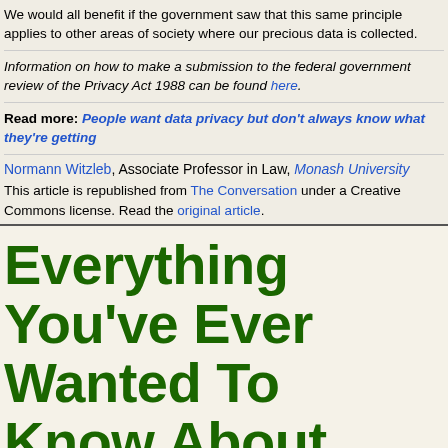We would all benefit if the government saw that this same principle applies to other areas of society where our precious data is collected.
Information on how to make a submission to the federal government review of the Privacy Act 1988 can be found here.
Read more: People want data privacy but don't always know what they're getting
Normann Witzleb, Associate Professor in Law, Monash University
This article is republished from The Conversation under a Creative Commons license. Read the original article.
Everything You've Ever Wanted To Know About Frogs
The NSW Department of Planning, Industry and Environment published